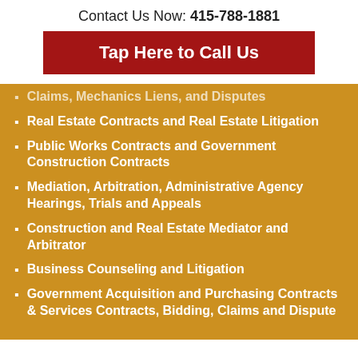Contact Us Now: 415-788-1881
Tap Here to Call Us
Claims, Mechanics Liens, and Disputes
Real Estate Contracts and Real Estate Litigation
Public Works Contracts and Government Construction Contracts
Mediation, Arbitration, Administrative Agency Hearings, Trials and Appeals
Construction and Real Estate Mediator and Arbitrator
Business Counseling and Litigation
Government Acquisition and Purchasing Contracts & Services Contracts, Bidding, Claims and Dispute